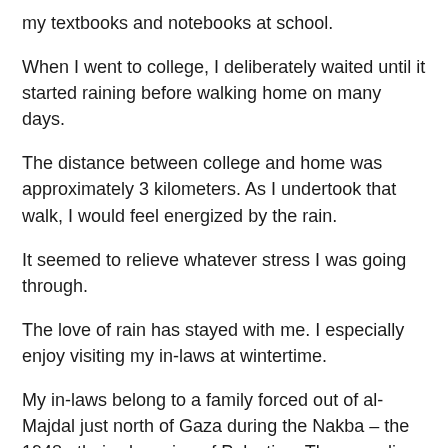my textbooks and notebooks at school.
When I went to college, I deliberately waited until it started raining before walking home on many days.
The distance between college and home was approximately 3 kilometers. As I undertook that walk, I would feel energized by the rain.
It seemed to relieve whatever stress I was going through.
The love of rain has stayed with me. I especially enjoy visiting my in-laws at wintertime.
My in-laws belong to a family forced out of al-Majdal just north of Gaza during the Nakba – the 1948 ethnic cleansing of Palestine. They now live in the middle of Jabaliya refugee camp.